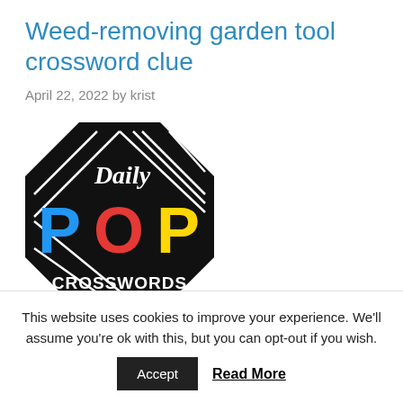Weed-removing garden tool crossword clue
April 22, 2022 by krist
[Figure (logo): Daily POP Crosswords logo — black rounded square with crossword grid pattern, text 'Daily' in script, 'POP' in large colorful letters (blue P, red O, yellow P), 'CROSSWORDS' in black at bottom]
This website uses cookies to improve your experience. We'll assume you're ok with this, but you can opt-out if you wish.
Accept   Read More